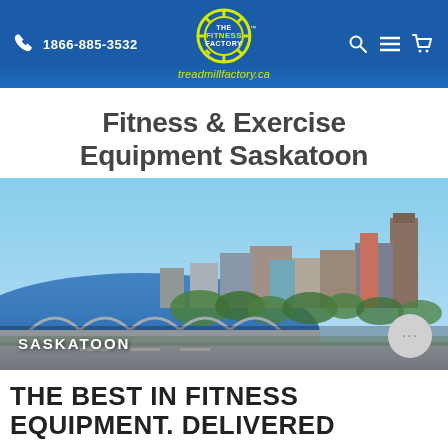1866-885-3532 | The Fitness Factory | treadmillfactory.ca
Fitness & Exercise Equipment Saskatoon
[Figure (photo): Aerial photo of Saskatoon city skyline with river and bridge in the foreground, labeled SASKATOON]
THE BEST IN FITNESS EQUIPMENT. DELIVERED